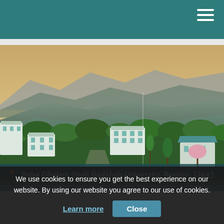[Figure (photo): Aerial view of Baba Ghulam Shah Badshah University campus surrounded by lush green trees and hills in Rajouri (J&K). Multi-storey white institutional buildings are visible amidst dense vegetation with mountain ranges in the background.]
📍 Baba Ghulam Shah Badshah University, Roujori, (J&K)
We use cookies to ensure you get the best experience on our website. By using our website you agree to our use of cookies. Learn more  Close